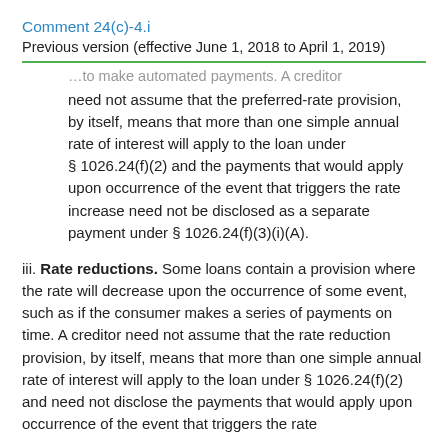Comment 24(c)-4.i
Previous version (effective June 1, 2018 to April 1, 2019)
…to make automated payments. A creditor need not assume that the preferred-rate provision, by itself, means that more than one simple annual rate of interest will apply to the loan under § 1026.24(f)(2) and the payments that would apply upon occurrence of the event that triggers the rate increase need not be disclosed as a separate payment under § 1026.24(f)(3)(i)(A).
iii. Rate reductions. Some loans contain a provision where the rate will decrease upon the occurrence of some event, such as if the consumer makes a series of payments on time. A creditor need not assume that the rate reduction provision, by itself, means that more than one simple annual rate of interest will apply to the loan under § 1026.24(f)(2) and need not disclose the payments that would apply upon occurrence of the event that triggers the rate